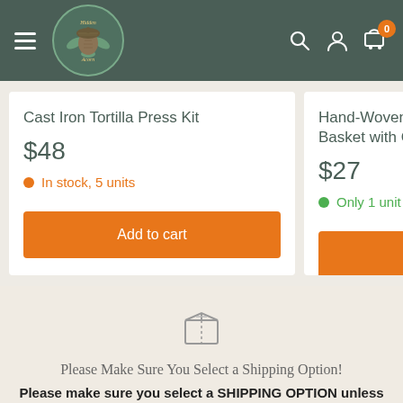[Figure (logo): Hidden Acorn logo — illustrated acorn with leaves and text 'Hidden Acorn' on a dark teal circular background]
Cast Iron Tortilla Press Kit
$48
In stock, 5 units
Add to cart
Hand-Woven Seagrass Basket with Ceramic
$27
Only 1 unit left
Add to
[Figure (illustration): Box/package icon in grey outline]
Please Make Sure You Select a Shipping Option!
Please make sure you select a SHIPPING OPTION unless you plan to